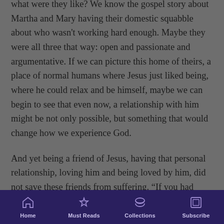what were they like? We know the gospel story about Martha and Mary having their domestic squabble about who wasn't working hard enough. Maybe they were all three that way: open and passionate and argumentative. If we can picture this home of theirs, a place of normal humans where Jesus just liked being, where he could relax and be himself, maybe we can begin to see that even now, a relationship with him might be not only possible, but something that would change how we experience God.
And yet being a friend of Jesus, having that personal relationship, loving him and being loved by him, did not save these friends from suffering. “If you had been here, our brother would not have died.” It’s a bitter thing said to Jesus by these people he loved, and he doesn’t explain why exactly he stayed away so
Home | Must Reads | Collections | Subscribe